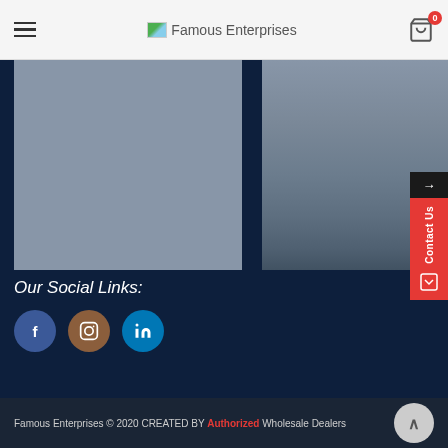Famous Enterprises
[Figure (photo): Left product image placeholder (gray square)]
[Figure (photo): Right product image placeholder (gray gradient square)]
Our Social Links:
[Figure (infographic): Social media icons: Facebook (blue circle), Instagram (brown circle), LinkedIn (teal circle)]
Famous Enterprises © 2020 CREATED BY Authorized Wholesale Dealers